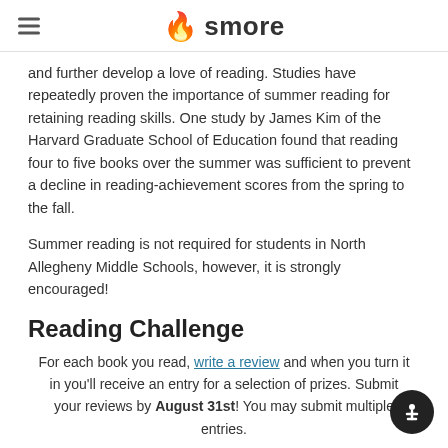smore
and further develop a love of reading. Studies have repeatedly proven the importance of summer reading for retaining reading skills. One study by James Kim of the Harvard Graduate School of Education found that reading four to five books over the summer was sufficient to prevent a decline in reading-achievement scores from the spring to the fall.
Summer reading is not required for students in North Allegheny Middle Schools, however, it is strongly encouraged!
Reading Challenge
For each book you read, write a review and when you turn it in you'll receive an entry for a selection of prizes. Submit your reviews by August 31st! You may submit multiple entries.
Submit your entry here.